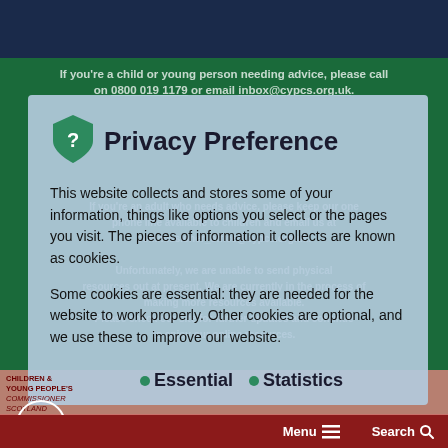If you're a child or young person needing advice, please call on 0800 019 1179 or email inbox@cypcs.org.uk.
If you're an adult who needs advice, please keep our one phone line available to children and email us at commissioner_office@cypcs.org.uk.
Unfortunately, we are unable to send physical resources out at present. We are currently in the process of making more resources available. Please check our site for further updates and continue to enjoy our online resources.
Privacy Preference
This website collects and stores some of your information, things like options you select or the pages you visit. The pieces of information it collects are known as cookies.
Some cookies are essential: they are needed for the website to work properly. Other cookies are optional, and we use these to improve our website.
Essential
Statistics
CHILDREN & YOUNG PEOPLE'S Commissioner Scotland   Menu  Search